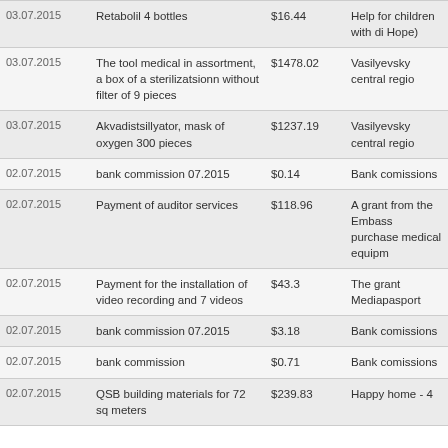| Date | Description | Amount | Category |
| --- | --- | --- | --- |
| 03.07.2015 | Retabolil 4 bottles | $16.44 | Help for children with di Hope) |
| 03.07.2015 | The tool medical in assortment, a box of a sterilizatsionn without filter of 9 pieces | $1478.02 | Vasilyevsky central regio |
| 03.07.2015 | Akvadistsillyator, mask of oxygen 300 pieces | $1237.19 | Vasilyevsky central regio |
| 02.07.2015 | bank commission 07.2015 | $0.14 | Bank comissions |
| 02.07.2015 | Payment of auditor services | $118.96 | A grant from the Embass purchase medical equipm |
| 02.07.2015 | Payment for the installation of video recording and 7 videos | $43.3 | The grant Mediapasport |
| 02.07.2015 | bank commission 07.2015 | $3.18 | Bank comissions |
| 02.07.2015 | bank commission | $0.71 | Bank comissions |
| 02.07.2015 | QSB building materials for 72 sq meters | $239.83 | Happy home - 4 |